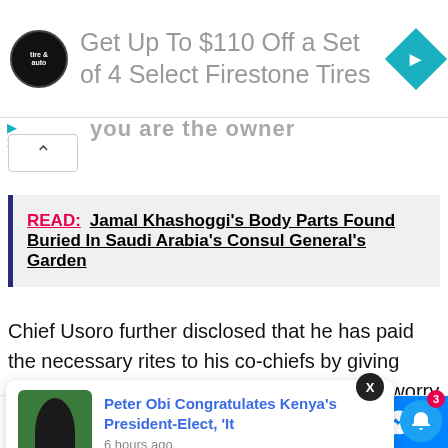[Figure (infographic): Advertisement banner: Firestone tire & auto logo, text 'Get Up To $110 Off a Set of 4 Select Firestone Tires', teal diamond arrow icon]
you are the owner
READ: Jamal Khashoggi's Body Parts Found Buried In Saudi Arabia's Consul General's Garden
Chief Usoro further disclosed that he has paid the necessary rites to his co-chiefs by giving “cow” so that his children will know what to worry about after his
[Figure (screenshot): Notification popup: Peter Obi Congratulates Kenya's President-Elect, 'It - 6 hours ago]
45 Shares  [Facebook] [Twitter] [WhatsApp] [Messenger]